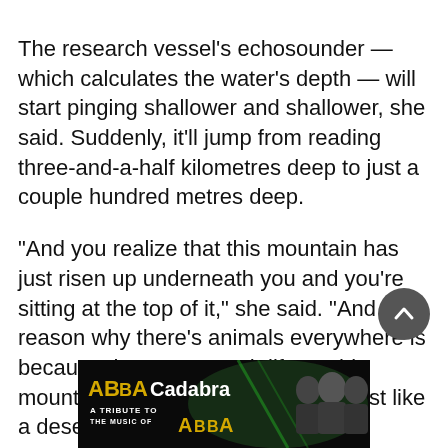The research vessel's echosounder — which calculates the water's depth — will start pinging shallower and shallower, she said. Suddenly, it'll jump from reading three-and-a-half kilometres deep to just a couple hundred metres deep.
“And you realize that this mountain has just risen up underneath you and you’re sitting at the top of it,” she said. “And the reason why there’s animals everywhere is because there’s so much life on this mountain that would otherwise be just like a desert of water.”
[Figure (other): Scroll-to-top circular button with upward chevron arrow, dark grey background]
[Figure (photo): Advertisement banner for ABBA Cadabra: A Tribute to the Music of ABBA, showing the band logo and performers]